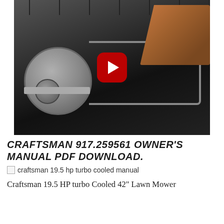[Figure (screenshot): YouTube video thumbnail showing a person's hand using a tool on a lawn mower pulley/belt assembly. Red YouTube play button overlay in center. Dark mechanical background with pulleys, brackets, and wiring visible.]
CRAFTSMAN 917.259561 OWNER'S MANUAL PDF DOWNLOAD.
[Figure (photo): Small broken image icon for 'craftsman 19.5 hp turbo cooled manual']
craftsman 19.5 hp turbo cooled manual
Craftsman 19.5 HP turbo Cooled 42" Lawn Mower